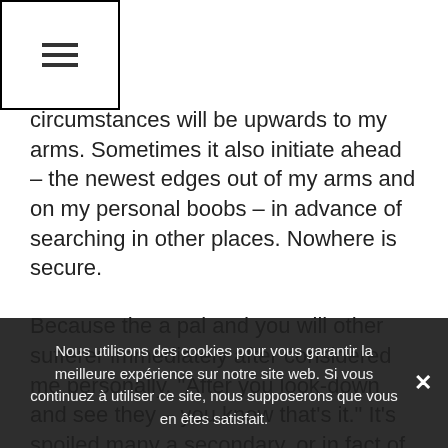☰
circumstances will be upwards to my arms. Sometimes it also initiate ahead – the newest edges out of my arms and on my personal boobs – in advance of searching in other places. Nowhere is secure.
Because the a pal and you will other sufferer immediately after considered me personally, "After you look-down and see they – you know that's it." It's spoiled many a secondary, or in fact of a lot a sunshiney day that should be spent frolicking outdoors and you can soaking up the latest vitamin D (simply because that could have unquestionably itched, aching and unsightly. It will make summer an income hell. Exactly what explanations they which will be there in whatever way to cease people
Nous utilisons des cookies pour vous garantir la meilleure expérience sur notre site web. Si vous continuez à utiliser ce site, nous supposerons que vous en êtes satisfait.